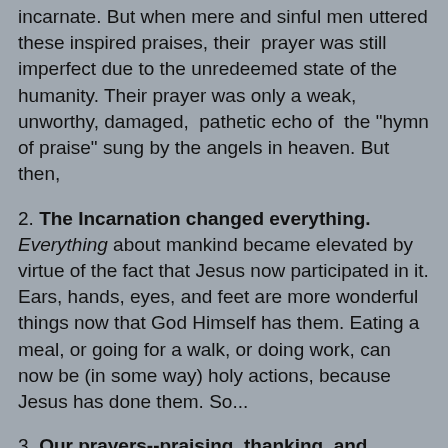incarnate. But when mere and sinful men uttered these inspired praises, their prayer was still imperfect due to the unredeemed state of the humanity. Their prayer was only a weak, unworthy, damaged, pathetic echo of the "hymn of praise" sung by the angels in heaven. But then,
2. The Incarnation changed everything. Everything about mankind became elevated by virtue of the fact that Jesus now participated in it. Ears, hands, eyes, and feet are more wonderful things now that God Himself has them. Eating a meal, or going for a walk, or doing work, can now be (in some way) holy actions, because Jesus has done them. So...
3. Our prayers--praising, thanking, and petitioning God--became elevated. Became holier, more worthy once Jesus came to earth and prayed as God made man. When He prayed the inspired prayers of Israel--the psalms--He made those holy word Super-holy. He made our praying of them a holier and more worthy act than it had every been before. So now our praying of those divine praises is linked to that heavenly hymn of praise because Christ is the Bridge